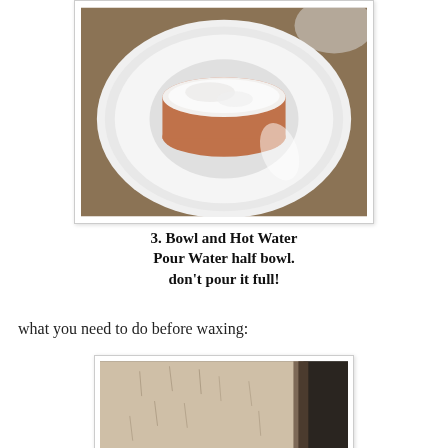[Figure (photo): A round white ceramic jar or container sitting on a white plate, viewed from above. The jar appears to have cream or wax inside, with brown/terracotta colored sides. The plate sits on a wooden surface.]
3. Bowl and Hot Water
Pour Water half bowl.
don't pour it full!
what you need to do before waxing:
[Figure (photo): A close-up photo of a person's leg showing skin with visible hair, taken before waxing.]